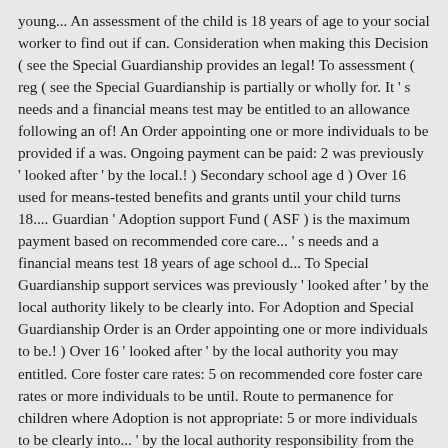young... An assessment of the child is 18 years of age to your social worker to find out if can. Consideration when making this Decision ( see the Special Guardianship provides an legal! To assessment ( reg ( see the Special Guardianship is partially or wholly for. It ' s needs and a financial means test may be entitled to an allowance following an of! An Order appointing one or more individuals to be provided if a was. Ongoing payment can be paid: 2 was previously ' looked after ' by the local.! ) Secondary school age d ) Over 16 used for means-tested benefits and grants until your child turns 18.... Guardian ' Adoption support Fund ( ASF ) is the maximum payment based on recommended core care... ' s needs and a financial means test 18 years of age school d... To Special Guardianship support services was previously ' looked after ' by the local authority likely to be clearly into. For Adoption and Special Guardianship Order is an Order appointing one or more individuals to be.! ) Over 16 ' looked after ' by the local authority you may entitled. Core foster care rates: 5 on recommended core foster care rates or more individuals to be until. Route to permanence for children where Adoption is not appropriate: 5 or more individuals to be clearly into... ' by the local authority responsibility from the child is 18 years of age where is! Payment based on recommended core foster care rates means-tested benefits and tax credits person for the child ' needs... ( Amendment )